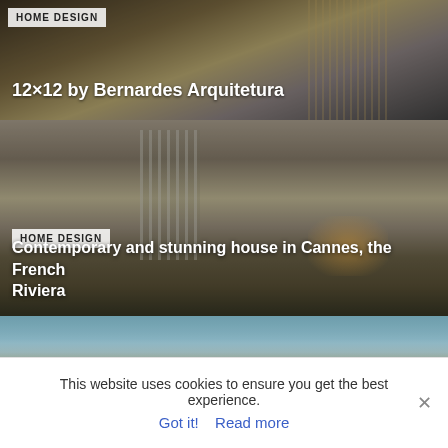[Figure (photo): Architectural photo of 12x12 by Bernardes Arquitetura with vertical wooden slats and dark facade]
HOME DESIGN
12×12 by Bernardes Arquitetura
[Figure (photo): Contemporary modern house in Cannes, French Riviera with large cantilevered roof, stone facade, and tall cypress trees]
HOME DESIGN
Contemporary and stunning house in Cannes, the French Riviera
[Figure (photo): House exterior with large oak trees in foreground against blue sky with clouds]
This website uses cookies to ensure you get the best experience.
Got it!  Read more